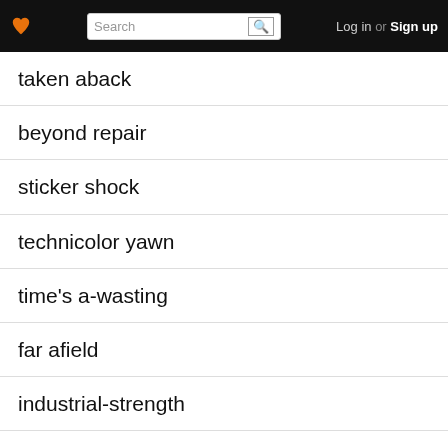Search | Log in or Sign up
taken aback
beyond repair
sticker shock
technicolor yawn
time's a-wasting
far afield
industrial-strength
player two
night terrors
on tenterhooks